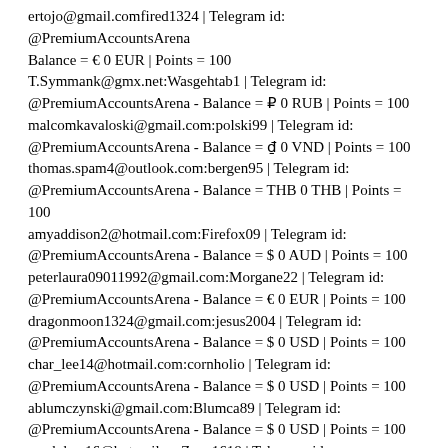ertojo@gmail.comfired1324 | Telegram id: @PremiumAccountsArena - Balance = € 0 EUR | Points = 100
T.Symmank@gmx.net:Wasgehtab1 | Telegram id: @PremiumAccountsArena - Balance = ₽ 0 RUB | Points = 100
malcomkavaloski@gmail.com:polski99 | Telegram id: @PremiumAccountsArena - Balance = ₫ 0 VND | Points = 100
thomas.spam4@outlook.com:bergen95 | Telegram id: @PremiumAccountsArena - Balance = THB 0 THB | Points = 100
amyaddison2@hotmail.com:Firefox09 | Telegram id: @PremiumAccountsArena - Balance = $ 0 AUD | Points = 100
peterlaura09011992@gmail.com:Morgane22 | Telegram id: @PremiumAccountsArena - Balance = € 0 EUR | Points = 100
dragonmoon1324@gmail.com:jesus2004 | Telegram id: @PremiumAccountsArena - Balance = $ 0 USD | Points = 100
char_lee14@hotmail.com:cornholio | Telegram id: @PremiumAccountsArena - Balance = $ 0 USD | Points = 100
ablumczynski@gmail.com:Blumca89 | Telegram id: @PremiumAccountsArena - Balance = $ 0 USD | Points = 100
sarah.hay16@hotmail.ca:Zoey1618 | Telegram id: